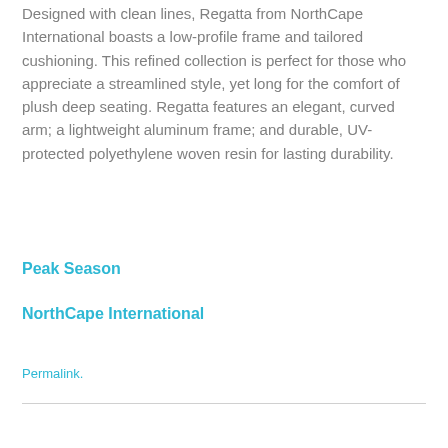Designed with clean lines, Regatta from NorthCape International boasts a low-profile frame and tailored cushioning. This refined collection is perfect for those who appreciate a streamlined style, yet long for the comfort of plush deep seating. Regatta features an elegant, curved arm; a lightweight aluminum frame; and durable, UV-protected polyethylene woven resin for lasting durability.
Peak Season
NorthCape International
Permalink.